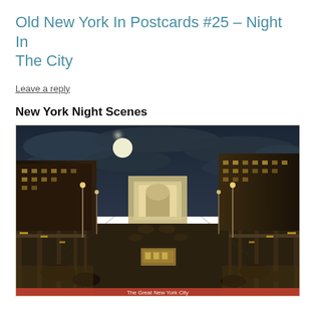Old New York In Postcards #25 – Night In The City
Leave a reply
New York Night Scenes
[Figure (illustration): Vintage colorized postcard showing a New York City street at night, viewed from an elevated perspective between elevated railway tracks. A full moon glows in a cloudy sky. The wide street below is filled with horse-drawn carriages, streetcars, and early automobiles. Illuminated storefronts and electric street lights line both sides of the busy avenue, with multi-story commercial buildings in the background.]